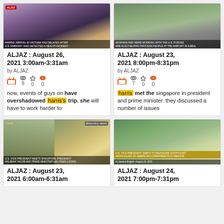[Figure (screenshot): News broadcast screenshot - Harris with others at event, yellow chyron at bottom]
ALJAZ : August 26, 2021 3:00am-3:31am
by ALJAZ
now, events of guys on have overshadowed harris's trip. she will have to work harder to
[Figure (screenshot): News broadcast screenshot - Afghanistan airport/construction scene, with chyron text]
ALJAZ : August 23, 2021 8:00pm-8:31pm
by ALJAZ
harris met the singapore in president and prime minister. they discussed a number of issues
[Figure (screenshot): News broadcast screenshot UPS - woman with glasses on split screen with outdoor scene]
ALJAZ : August 23, 2021 6:00am-6:31am
[Figure (screenshot): News broadcast screenshot - street scene with people and barriers]
ALJAZ : August 24, 2021 7:00pm-7:31pm